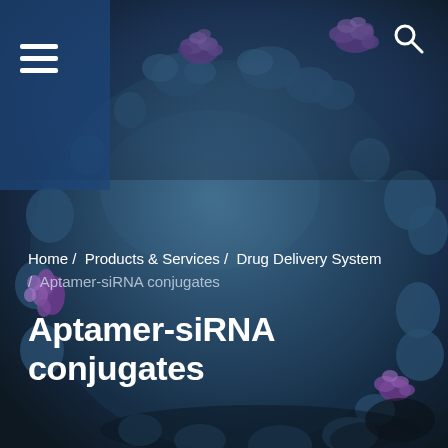[Figure (illustration): 3D rendered illustration of a dark blue virus or immune cell with bumpy surface texture and purple protein spikes/receptors attached to its surface, set against a dark navy background. The cell occupies most of the frame.]
≡  [menu icon]  [search icon]
Home /  Products & Services /  Drug Delivery System /  Aptamer-siRNA conjugates
Aptamer-siRNA conjugates